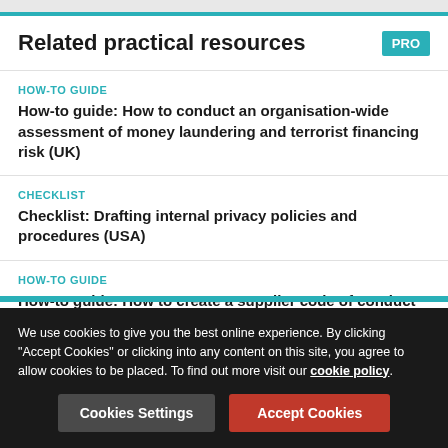Related practical resources
HOW-TO GUIDE
How-to guide: How to conduct an organisation-wide assessment of money laundering and terrorist financing risk (UK)
CHECKLIST
Checklist: Drafting internal privacy policies and procedures (USA)
HOW-TO GUIDE
How-to guide: How to create a supplier code of conduct (UK)
We use cookies to give you the best online experience. By clicking "Accept Cookies" or clicking into any content on this site, you agree to allow cookies to be placed. To find out more visit our cookie policy.